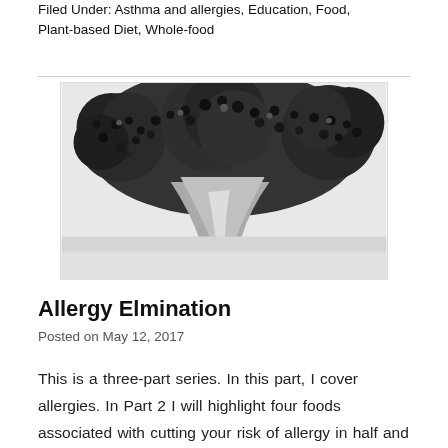Filed Under: Asthma and allergies, Education, Food, Plant-based Diet, Whole-food
[Figure (photo): Black and white close-up photograph of a broccoli head split open, showing the florets and stem in detail]
Allergy Elmination
Posted on May 12, 2017
This is a three-part series. In this part, I cover allergies. In Part 2 I will highlight four foods associated with cutting your risk of allergy in half and improving your symptoms if you are